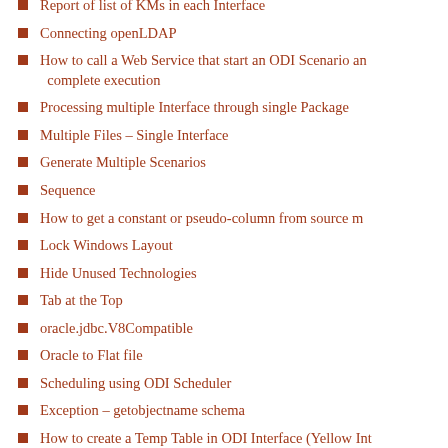Report of list of KMs in each Interface
Connecting openLDAP
How to call a Web Service that start an ODI Scenario and complete execution
Processing multiple Interface through single Package
Multiple Files – Single Interface
Generate Multiple Scenarios
Sequence
How to get a constant or pseudo-column from source m…
Lock Windows Layout
Hide Unused Technologies
Tab at the Top
oracle.jdbc.V8Compatible
Oracle to Flat file
Scheduling using ODI Scheduler
Exception – getobjectname schema
How to create a Temp Table in ODI Interface (Yellow Int…